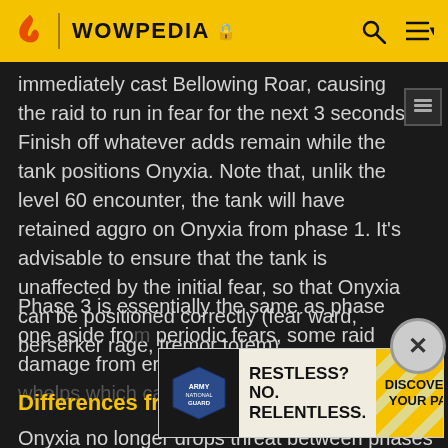WOWPEDIA
immediately cast Bellowing Roar, causing the raid to run in fear for the next 3 seconds. Finish off whatever adds remain while the tank positions Onyxia. Note that, unlike the level 60 encounter, the tank will have retained aggro on Onyxia from phase 1. It's advisable to ensure that the tank is unaffected by the initial fear, so that Onyxia can be positioned correctly (fear ward, berserker rage, tremor totem).
Phase 3 is essentially the same as phase one aside from periodic fears, some raid damage from eruption and occasional whelps which can be quite dangerous.
[Figure (other): Army National Guard advertisement: RESTLESS? NO. RELENTLESS. DISCOVER YOUR PATH]
Differences from level 60
Onyxia no longer drops threat between phases 1 and 3.